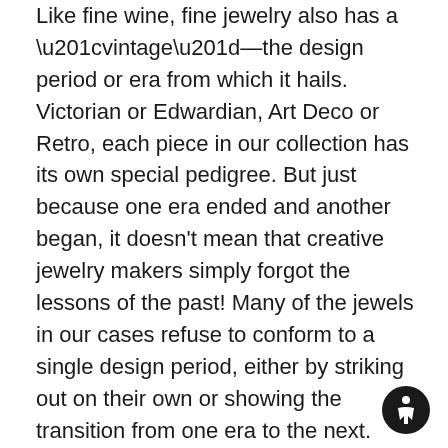Like fine wine, fine jewelry also has a “vintage”—the design period or era from which it hails. Victorian or Edwardian, Art Deco or Retro, each piece in our collection has its own special pedigree. But just because one era ended and another began, it doesn't mean that creative jewelry makers simply forgot the lessons of the past! Many of the jewels in our cases refuse to conform to a single design period, either by striking out on their own or showing the transition from one era to the next. When such daring dazzlers are over one hundred years old, they're generally grouped in the antique category. Anything younger than that, but still made before 1970, fits the vintage label. Every iconic era yields both singular and transitional pieces, like the ones we've assembled here. Follow the link at the end of each section for more about the aesthetics and history of the period.
[Figure (other): A circular navigation/accessibility icon (dark circle with a person/arrow symbol in white) located at the bottom right of the page.]